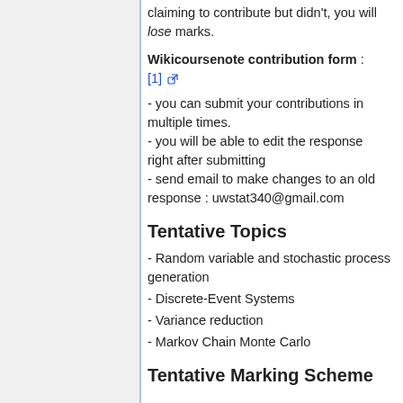claiming to contribute but didn't, you will lose marks.
Wikicoursenote contribution form : [1]
- you can submit your contributions in multiple times.
- you will be able to edit the response right after submitting
- send email to make changes to an old response : uwstat340@gmail.com
Tentative Topics
- Random variable and stochastic process generation
- Discrete-Event Systems
- Variance reduction
- Markov Chain Monte Carlo
Tentative Marking Scheme